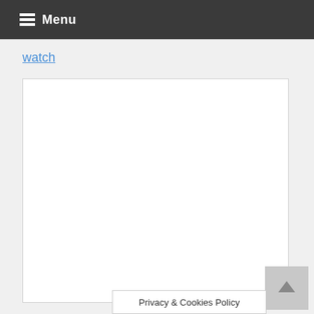Menu
watch
[Figure (other): Large white content/embed area with border]
Privacy & Cookies Policy